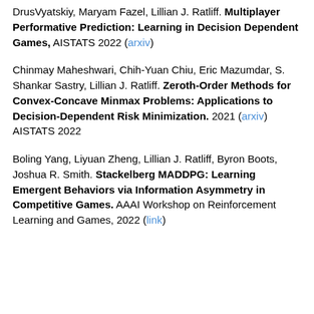DrusVyatskiy, Maryam Fazel, Lillian J. Ratliff. Multiplayer Performative Prediction: Learning in Decision Dependent Games, AISTATS 2022 (arxiv)
Chinmay Maheshwari, Chih-Yuan Chiu, Eric Mazumdar, S. Shankar Sastry, Lillian J. Ratliff. Zeroth-Order Methods for Convex-Concave Minmax Problems: Applications to Decision-Dependent Risk Minimization. 2021 (arxiv) AISTATS 2022
Boling Yang, Liyuan Zheng, Lillian J. Ratliff, Byron Boots, Joshua R. Smith. Stackelberg MADDPG: Learning Emergent Behaviors via Information Asymmetry in Competitive Games. AAAI Workshop on Reinforcement Learning and Games, 2022 (link)